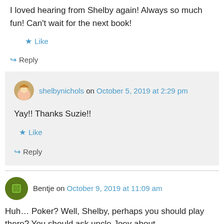I loved hearing from Shelby again! Always so much fun! Can't wait for the next book!
★ Like
↪ Reply
shelbynichols on October 5, 2019 at 2:29 pm
Yay!! Thanks Suzie!!
★ Like
↪ Reply
Bentje on October 9, 2019 at 11:09 am
Huh… Poker? Well, Shelby, perhaps you should play there? You should ask uncle Joey about